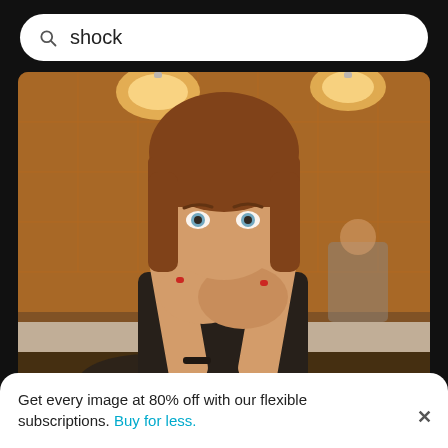shock
[Figure (photo): Close-up portrait of young woman with brown bangs covering her mouth with both hands, sitting in a cafe with warm orange lighting and pendant lamps. Another person visible in the background.]
Close-up portrait of young woman
[Figure (photo): Partial view of a second photo, partially cropped at the bottom of the page.]
Get every image at 80% off with our flexible subscriptions. Buy for less.